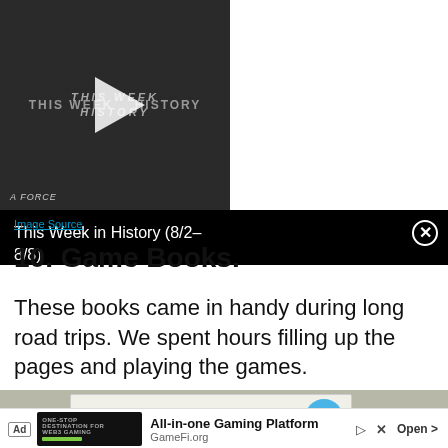[Figure (screenshot): Video player thumbnail showing 'This Week in History' with a play button, and a black info panel on the right showing the title 'This Week in History (8/2–8/8)' with a close button (X).]
Image Source
10. Game Books.
These books came in handy during long road trips. We spent hours filling up the pages and playing the games.
[Figure (photo): Photo of a 'YES & KNOW' game book on a gray surface, with a 'Great for Travel' badge in the top right corner.]
[Figure (screenshot): Advertisement bar at bottom: 'Ad' badge, logo area for a gaming platform, text reading 'All-in-one Gaming Platform' / 'GameFi.org', with play icon, X close button, and 'Open >' button.]